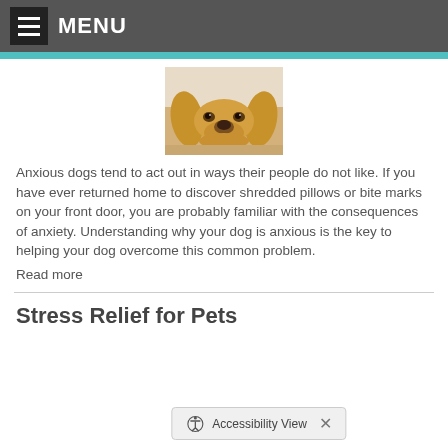MENU
[Figure (photo): A golden retriever dog resting its chin on the floor, looking up with sad/anxious eyes]
Anxious dogs tend to act out in ways their people do not like. If you have ever returned home to discover shredded pillows or bite marks on your front door, you are probably familiar with the consequences of anxiety. Understanding why your dog is anxious is the key to helping your dog overcome this common problem.
Read more
Stress Relief for Pets